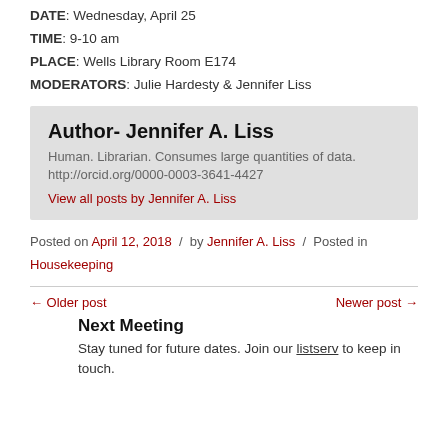DATE: Wednesday, April 25
TIME: 9-10 am
PLACE: Wells Library Room E174
MODERATORS: Julie Hardesty & Jennifer Liss
Author- Jennifer A. Liss
Human. Librarian. Consumes large quantities of data.
http://orcid.org/0000-0003-3641-4427
View all posts by Jennifer A. Liss
Posted on April 12, 2018 / by Jennifer A. Liss / Posted in
Housekeeping
← Older post
Newer post →
Next Meeting
Stay tuned for future dates. Join our listserv to keep in touch.